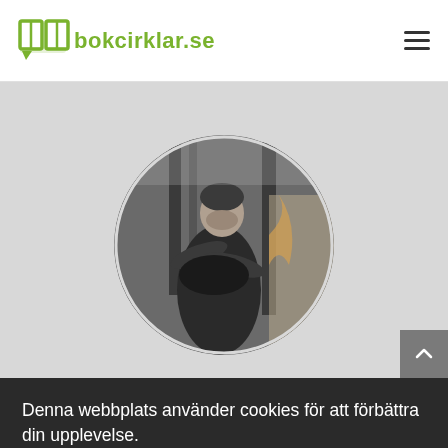bokcirklar.se
[Figure (photo): Circular cropped black and white photo of a person in a library or bookstore, handling a large book or dark cloth, with bookshelves and a figure in the background]
Denna webbplats använder cookies för att förbättra din upplevelse.
Inställningar   OK